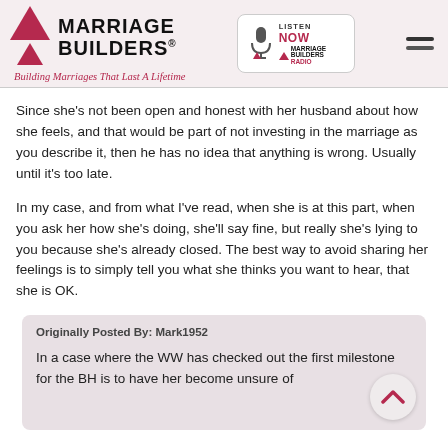Marriage Builders® — Building Marriages That Last A Lifetime — Listen Now Marriage Builders Radio
Since she's not been open and honest with her husband about how she feels, and that would be part of not investing in the marriage as you describe it, then he has no idea that anything is wrong. Usually until it's too late.
In my case, and from what I've read, when she is at this part, when you ask her how she's doing, she'll say fine, but really she's lying to you because she's already closed. The best way to avoid sharing her feelings is to simply tell you what she thinks you want to hear, that she is OK.
Originally Posted By: Mark1952

In a case where the WW has checked out the first milestone for the BH is to have her become unsure of